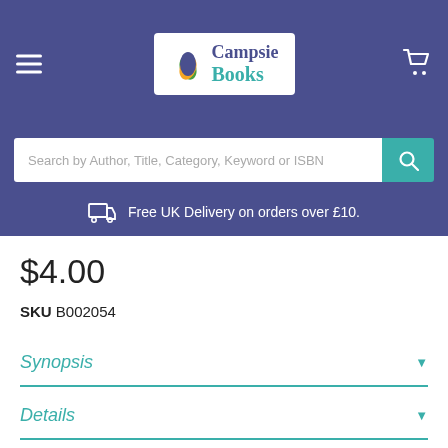Campsie Books
Search by Author, Title, Category, Keyword or ISBN
Free UK Delivery on orders over £10.
$4.00
SKU B002054
Synopsis
Details
External Reviews